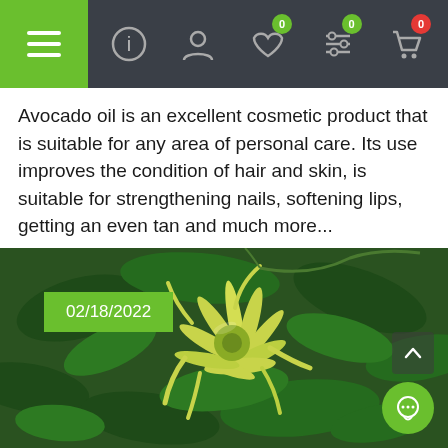Navigation bar with hamburger menu, info, account, wishlist (0), filters (0), cart (0)
Avocado oil is an excellent cosmetic product that is suitable for any area of personal care. Its use improves the condition of hair and skin, is suitable for strengthening nails, softening lips, getting an even tan and much more...
[Figure (photo): Close-up photo of ylang-ylang flowers with yellow-green drooping petals surrounded by green leaves. Date badge shows 02/18/2022 in top-left corner.]